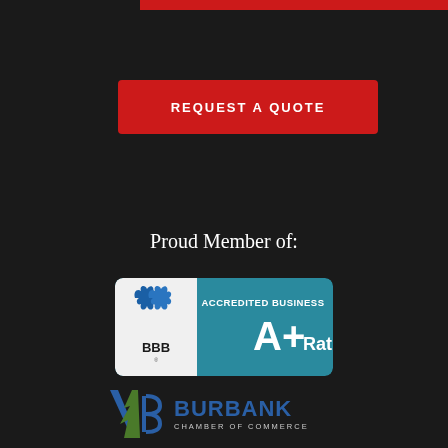[Figure (other): Red banner bar at the top of page]
REQUEST A QUOTE
Proud Member of:
[Figure (logo): BBB Accredited Business A+ Rating badge with blue and teal colors]
[Figure (logo): Burbank Chamber of Commerce logo with blue V shape, green foliage, and B letter mark]